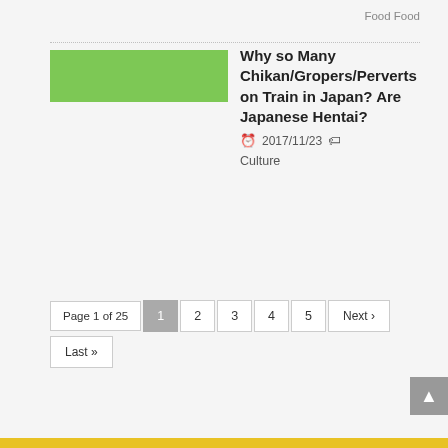Food Food
[Figure (illustration): Green rectangular placeholder image]
Why so Many Chikan/Gropers/Perverts on Train in Japan? Are Japanese Hentai?
2017/11/23
Culture
Page 1 of 25  1  2  3  4  5  Next ›  Last »